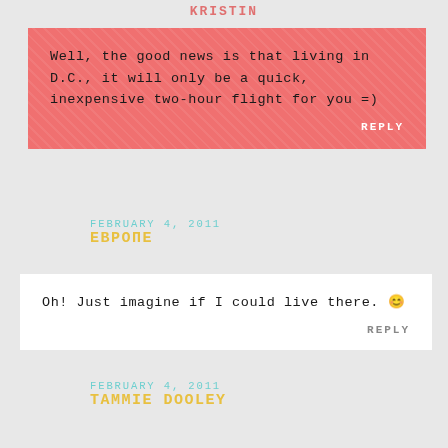KRISTIN
Well, the good news is that living in D.C., it will only be a quick, inexpensive two-hour flight for you =)
REPLY
FEBRUARY 4, 2011
ЕВРОПЕ
Oh! Just imagine if I could live there. 😊
REPLY
FEBRUARY 4, 2011
TAMMIE DOOLEY